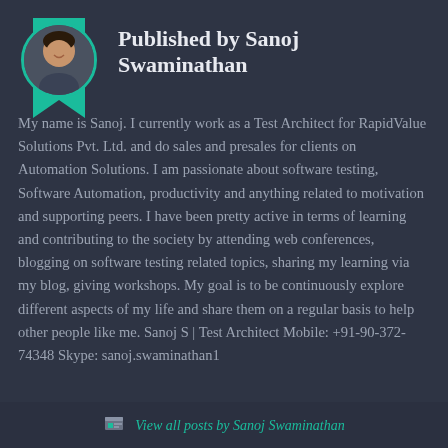Published by Sanoj Swaminathan
My name is Sanoj. I currently work as a Test Architect for RapidValue Solutions Pvt. Ltd. and do sales and presales for clients on Automation Solutions. I am passionate about software testing, Software Automation, productivity and anything related to motivation and supporting peers. I have been pretty active in terms of learning and contributing to the society by attending web conferences, blogging on software testing related topics, sharing my learning via my blog, giving workshops. My goal is to be continuously explore different aspects of my life and share them on a regular basis to help other people like me. Sanoj S | Test Architect Mobile: +91-90-372-74348 Skype: sanoj.swaminathan1
View all posts by Sanoj Swaminathan